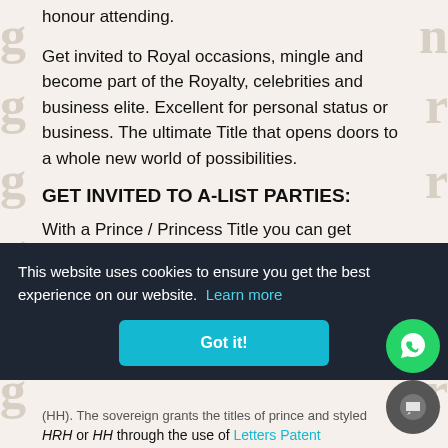honour attending.
Get invited to Royal occasions, mingle and become part of the Royalty, celebrities and business elite. Excellent for personal status or business. The ultimate Title that opens doors to a whole new world of possibilities.
GET INVITED TO A-LIST PARTIES:
With a Prince / Princess Title you can get invited to become an ambassador of good causes and patron of charities. Such a Title puts you in a top 100 status. This is the ultimate status symbol. It denotes...
This website uses cookies to ensure you get the best experience on our website. Learn more
Got it!
(HH). The sovereign grants the titles of prince and styled HRH or HH through the use of Letters Patent...